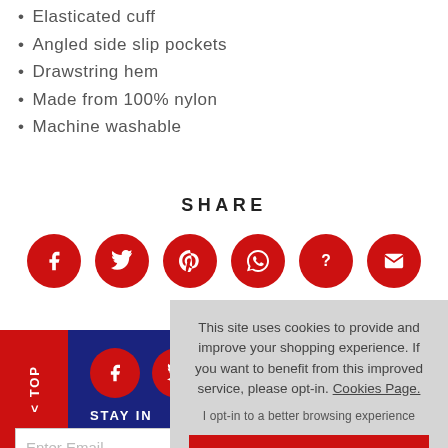Elasticated cuff
Angled side slip pockets
Drawstring hem
Made from 100% nylon
Machine washable
SHARE
[Figure (infographic): Six red circular social media share buttons: Facebook, Twitter, Pinterest, WhatsApp, Question/Help, Email]
This site uses cookies to provide and improve your shopping experience. If you want to benefit from this improved service, please opt-in. Cookies Page.
I opt-in to a better browsing experience
ACCEPT COOKIES
STAY IN
Enter Email
To see how we process your data view our Privacy Policy